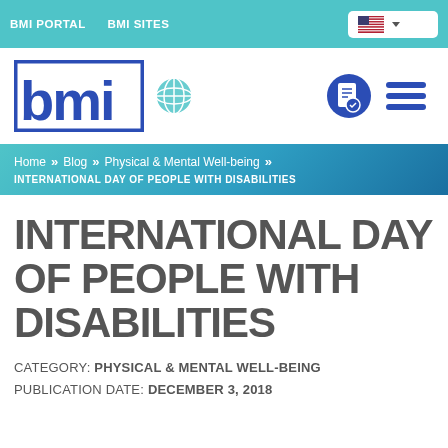BMI PORTAL   BMI SITES
[Figure (logo): BMI logo with stylized block letters B, M, I in blue outline style. Globe icon and navigation icons also present.]
Home » Blog » Physical & Mental Well-being » INTERNATIONAL DAY OF PEOPLE WITH DISABILITIES
INTERNATIONAL DAY OF PEOPLE WITH DISABILITIES
CATEGORY: PHYSICAL & MENTAL WELL-BEING
PUBLICATION DATE: DECEMBER 3, 2018